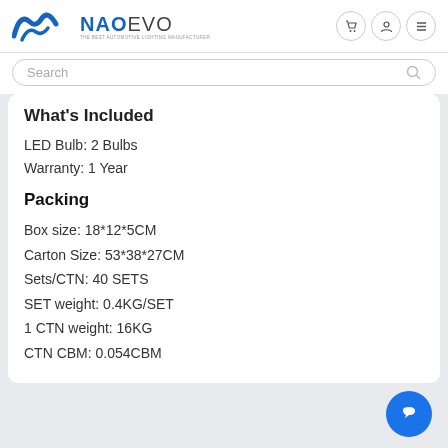NAO EVO - THE BEST AUTOMOTIVE LIGHTING MANUFACTURER
What's Included
LED Bulb: 2 Bulbs
Warranty: 1 Year
Packing
Box size: 18*12*5CM
Carton Size: 53*38*27CM
Sets/CTN: 40 SETS
SET weight: 0.4KG/SET
1 CTN weight: 16KG
CTN CBM: 0.054CBM